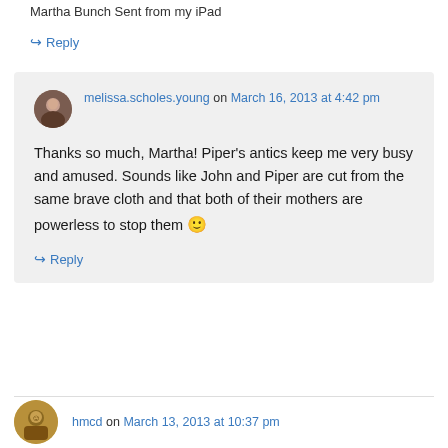Martha Bunch Sent from my iPad
↪ Reply
melissa.scholes.young on March 16, 2013 at 4:42 pm
Thanks so much, Martha! Piper's antics keep me very busy and amused. Sounds like John and Piper are cut from the same brave cloth and that both of their mothers are powerless to stop them 🙂
↪ Reply
hmcd on March 13, 2013 at 10:37 pm